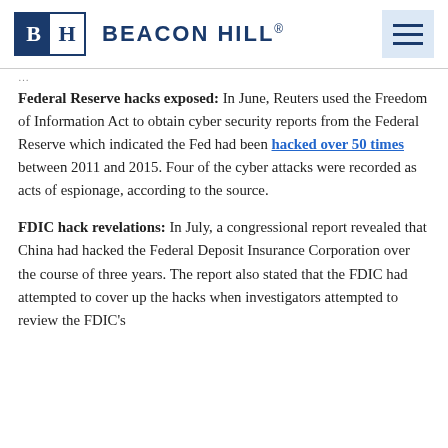Beacon Hill (logo header)
Federal Reserve hacks exposed: In June, Reuters used the Freedom of Information Act to obtain cyber security reports from the Federal Reserve which indicated the Fed had been hacked over 50 times between 2011 and 2015. Four of the cyber attacks were recorded as acts of espionage, according to the source.
FDIC hack revelations: In July, a congressional report revealed that China had hacked the Federal Deposit Insurance Corporation over the course of three years. The report also stated that the FDIC had attempted to cover up the hacks when investigators attempted to review the FDIC's